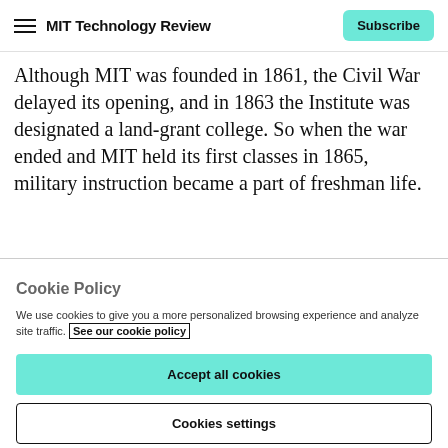MIT Technology Review  Subscribe
Although MIT was founded in 1861, the Civil War delayed its opening, and in 1863 the Institute was designated a land-grant college. So when the war ended and MIT held its first classes in 1865, military instruction became a part of freshman life.
Cookie Policy
We use cookies to give you a more personalized browsing experience and analyze site traffic. See our cookie policy
Accept all cookies
Cookies settings